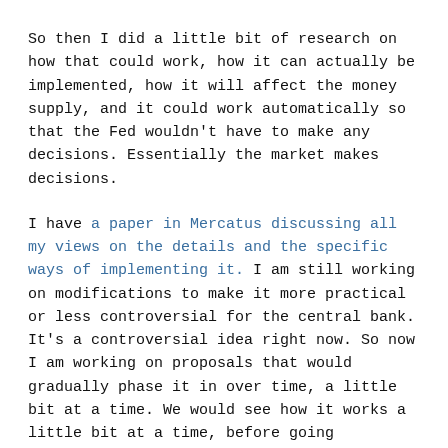So then I did a little bit of research on how that could work, how it can actually be implemented, how it will affect the money supply, and it could work automatically so that the Fed wouldn't have to make any decisions. Essentially the market makes decisions.
I have a paper in Mercatus discussing all my views on the details and the specific ways of implementing it. I am still working on modifications to make it more practical or less controversial for the central bank. It's a controversial idea right now. So now I am working on proposals that would gradually phase it in over time, a little bit at a time. We would see how it works a little bit at a time, before going completely to an automatic system.